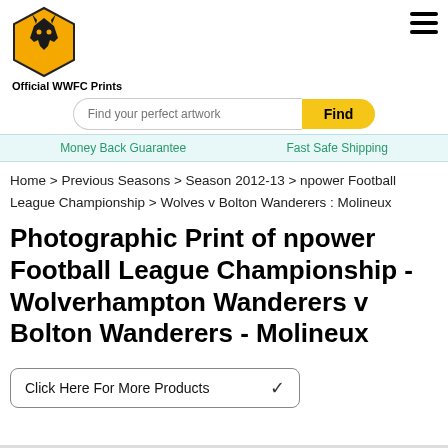[Figure (logo): Wolverhampton Wanderers FC crest logo - hexagonal gold badge with wolf head]
Official WWFC Prints
[Figure (other): Hamburger menu icon with three horizontal lines]
[Figure (other): Search bar with placeholder 'Find your perfect artwork' and yellow Find button]
Money Back Guarantee     Fast Safe Shipping
Home > Previous Seasons > Season 2012-13 > npower Football League Championship > Wolves v Bolton Wanderers : Molineux
Photographic Print of npower Football League Championship - Wolverhampton Wanderers v Bolton Wanderers - Molineux
[Figure (other): Dropdown selector: Click Here For More Products]